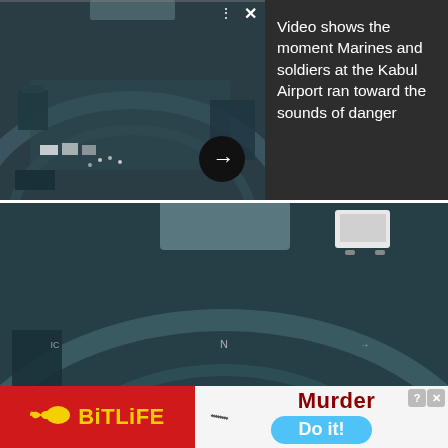[Figure (screenshot): Aerial night-vision video thumbnail of Kabul Airport area, showing small figures, vehicles, and structures from above. Has control icons (dots, X) at top right and a circular play arrow button at bottom right.]
Video shows the moment Marines and soldiers at the Kabul Airport ran toward the sounds of danger
[Figure (screenshot): Second aerial night-vision video frame of Kabul Airport, showing vehicles including a white van at top right, people on tarmac, and structures. Letter 'N' compass indicator visible in center.]
[Figure (screenshot): Advertisement banner: left side red background with BitLife logo (sperm icon) and yellow BitLife text; right side showing a game ad with 'Murder' in dark red text and 'Do it!' on a light blue pill-shaped button, with knife graphic and close/question buttons.]